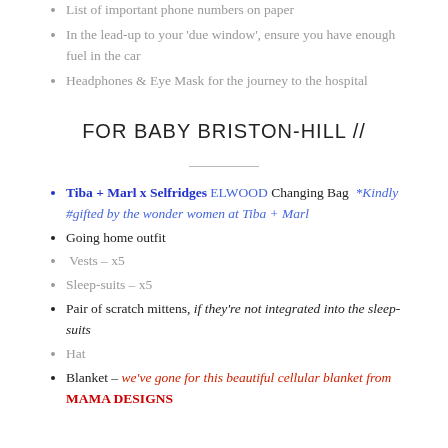List of important phone numbers on paper
In the lead-up to your 'due window', ensure you have enough fuel in the car
Headphones & Eye Mask for the journey to the hospital
FOR BABY BRISTON-HILL //
Tiba + Marl x Selfridges ELWOOD Changing Bag *Kindly #gifted by the wonder women at Tiba + Marl
Going home outfit
Vests – x5
Sleep-suits – x5
Pair of scratch mittens, if they're not integrated into the sleep-suits
Hat
Blanket – we've gone for this beautiful cellular blanket from MAMA DESIGNS